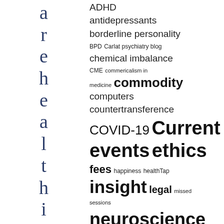[Figure (other): Tag cloud / word cloud showing psychiatric and medical blog topic tags. Left side shows vertical decorative text 'arehealthier than'. Right side shows tags of varying sizes: ADHD, antidepressants, borderline personality, BPD, Carlat psychiatry blog, chemical imbalance, CME, commericalism in medicine, commodity, computers, countertransference, COVID-19, Current events, ethics, fees, happiness, healthTap, insight, legal, missed sessions, neuroscience]